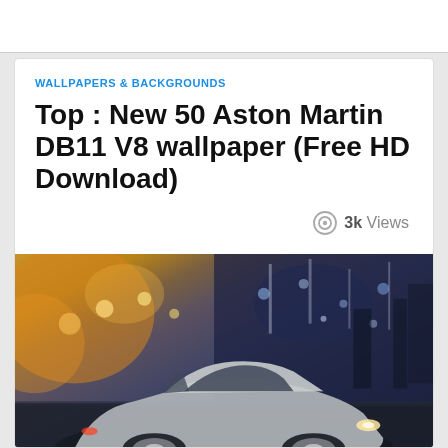WALLPAPERS & BACKGROUNDS
Top : New 50 Aston Martin DB11 V8 wallpaper (Free HD Download)
3k Views
[Figure (photo): Aston Martin DB11 V8 silver sports car photographed at night on a city street with bokeh street lights in the background]